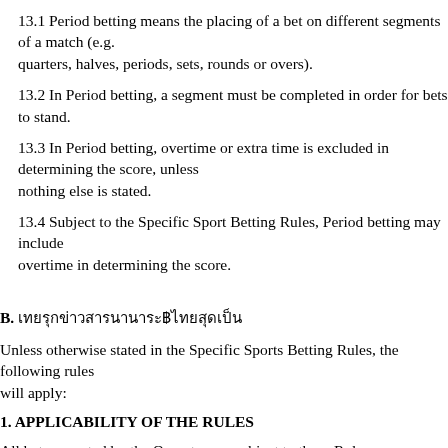13.1 Period betting means the placing of a bet on different segments of a match (e.g. quarters, halves, periods, sets, rounds or overs).
13.2 In Period betting, a segment must be completed in order for bets to stand.
13.3 In Period betting, overtime or extra time is excluded in determining the score, unless nothing else is stated.
13.4 Subject to the Specific Sport Betting Rules, Period betting may include overtime in determining the score.
B. [non-Latin text]
Unless otherwise stated in the Specific Sports Betting Rules, the following rules will apply:
1. APPLICABILITY OF THE RULES
All bets accepted by the Operator are subject to these Rules.
2. INCONSISTENCY BETWEEN ENGLISH & OTHER LANGUAGES
In the event of any inconsistency between the English and the Non-English text, the English text shall prevail.